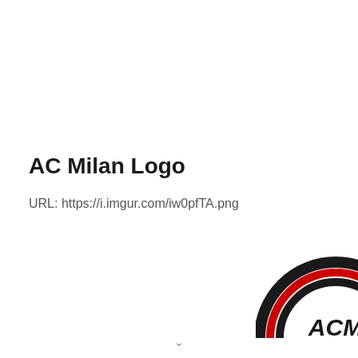AC Milan Logo
URL: https://i.imgur.com/iw0pfTA.png
[Figure (logo): AC Milan logo showing the top arc portion with black and red concentric arches and 'ACM' text in the center]